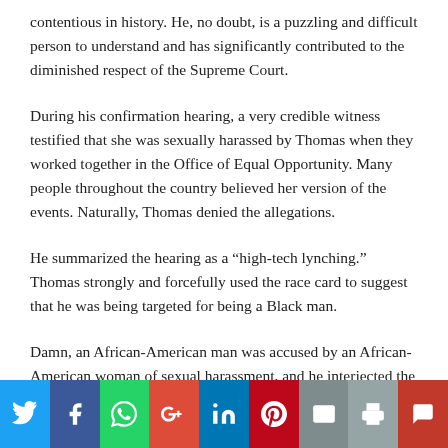contentious in history. He, no doubt, is a puzzling and difficult person to understand and has significantly contributed to the diminished respect of the Supreme Court.
During his confirmation hearing, a very credible witness testified that she was sexually harassed by Thomas when they worked together in the Office of Equal Opportunity. Many people throughout the country believed her version of the events. Naturally, Thomas denied the allegations.
He summarized the hearing as a “high-tech lynching.” Thomas strongly and forcefully used the race card to suggest that he was being targeted for being a Black man.
Damn, an African-American man was accused by an African-American woman of sexual harassment, and he interjected the word lynching into the conversation. Thomas failed to display
[Figure (other): Social media share buttons bar: Twitter (blue), Facebook (dark blue), WhatsApp (green), Google+ (red), LinkedIn (teal), Pinterest (dark red), Email (grey), Print (grey), Extra (dark red)]